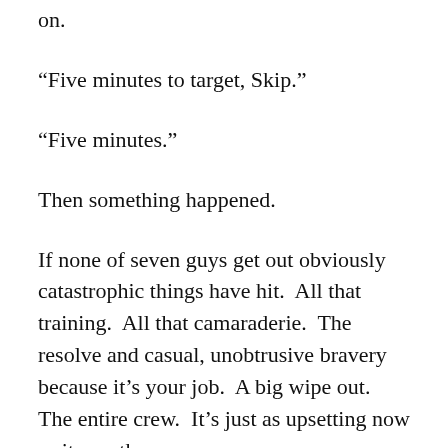on.
“Five minutes to target, Skip.”
“Five minutes.”
Then something happened.
If none of seven guys get out obviously catastrophic things have hit.  All that training.  All that camaraderie.  The resolve and casual, unobtrusive bravery because it’s your job.  A big wipe out.  The entire crew.  It’s just as upsetting now as it was then.
It’s a remember moment.